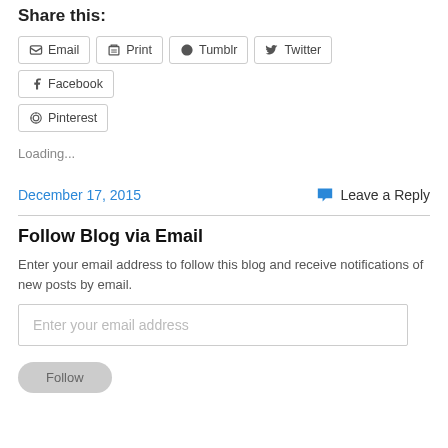Share this:
Email  Print  Tumblr  Twitter  Facebook  Pinterest
Loading...
December 17, 2015
Leave a Reply
Follow Blog via Email
Enter your email address to follow this blog and receive notifications of new posts by email.
Enter your email address